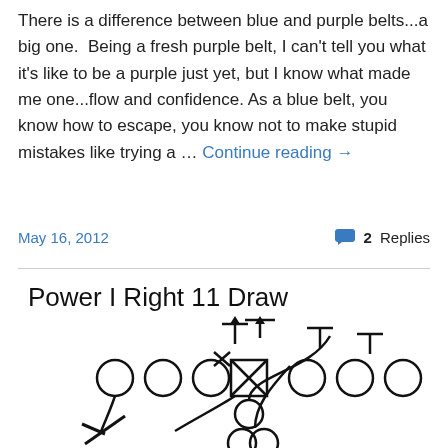There is a difference between blue and purple belts...a big one. Being a fresh purple belt, I can't tell you what it's like to be a purple just yet, but I know what made me one...flow and confidence. As a blue belt, you know how to escape, you know not to make stupid mistakes like trying a … Continue reading →
May 16, 2012
2 Replies
Power I Right 11 Draw
[Figure (schematic): American football play diagram showing Power I Right 11 Draw formation with player positions (circles and X box for center), blocking assignments and ball carrier routes indicated by arrows and curved lines.]